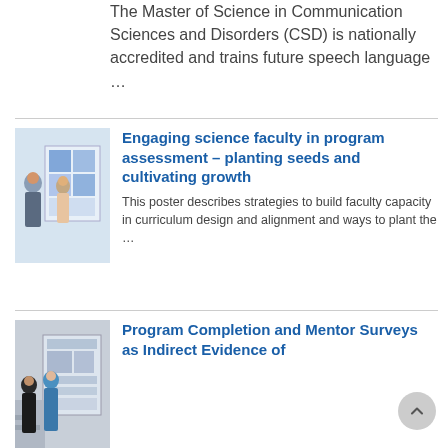The Master of Science in Communication Sciences and Disorders (CSD) is nationally accredited and trains future speech language ...
Engaging science faculty in program assessment – planting seeds and cultivating growth
[Figure (photo): Two people standing in front of a research poster display at a conference]
This poster describes strategies to build faculty capacity in curriculum design and alignment and ways to plant the ...
[Figure (photo): Two women standing in front of a research poster display]
Program Completion and Mentor Surveys as Indirect Evidence of